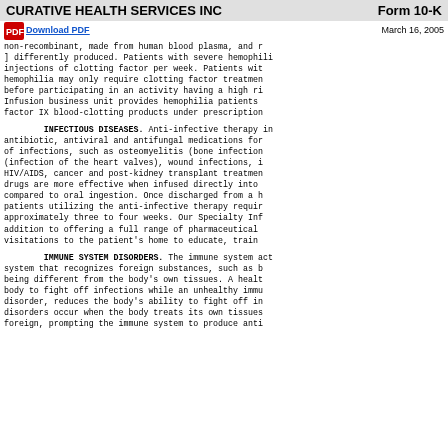CURATIVE HEALTH SERVICES INC    Form 10-K
non-recombinant, made from human blood plasma, and recombinant, ] } differently produced. Patients with severe hemophilia injections of clotting factor per week. Patients with mild hemophilia may only require clotting factor treatment before participating in an activity having a high risk. Infusion business unit provides hemophilia patients factor IX blood-clotting products under prescription
INFECTIOUS DISEASES. Anti-infective therapy includes antibiotic, antiviral and antifungal medications for treatment of infections, such as osteomyelitis (bone infections), (infection of the heart valves), wound infections, HIV/AIDS, cancer and post-kidney transplant treatments. drugs are more effective when infused directly into the body compared to oral ingestion. Once discharged from a hospital, patients utilizing the anti-infective therapy require approximately three to four weeks. Our Specialty Infusion addition to offering a full range of pharmaceutical visitations to the patient's home to educate, train
IMMUNE SYSTEM DISORDERS. The immune system acts as a system that recognizes foreign substances, such as bacteria, being different from the body's own tissues. A healthy body to fight off infections while an unhealthy immune disorder, reduces the body's ability to fight off infections. disorders occur when the body treats its own tissues as foreign, prompting the immune system to produce anti